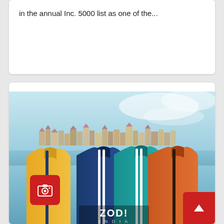in the annual Inc. 5000 list as one of the...
[Figure (photo): Product advertisement image for ZOD! brand showing four polo/track shirts in yellow, navy blue, teal, and orange colors arranged side by side, with a Mediterranean coastal town scene in the background. The ZOD! INDIA logo is visible at the bottom of the image. A red camera icon button is overlaid on the lower left of the image. A red scroll-to-top arrow button is in the bottom right corner.]